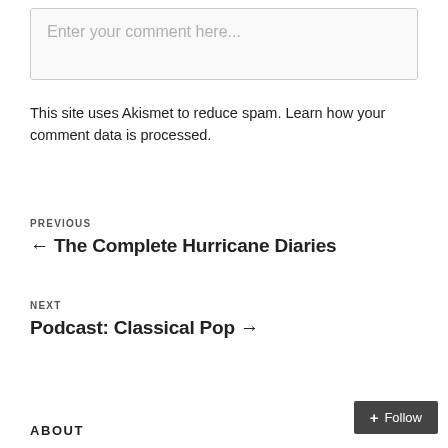Enter your comment here...
This site uses Akismet to reduce spam. Learn how your comment data is processed.
PREVIOUS
← The Complete Hurricane Diaries
NEXT
Podcast: Classical Pop →
ABOUT
Follow